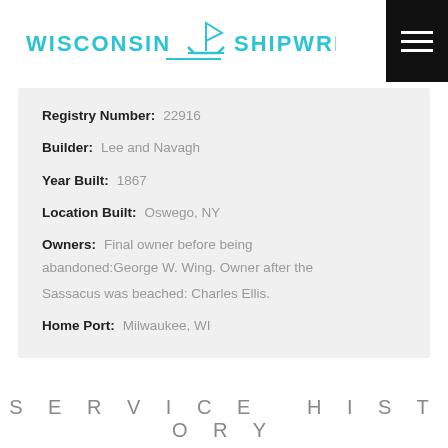[Figure (logo): Wisconsin Shipwrecks logo with cyan text and anchor/ship icon]
| Registry Number: | 22916 |
| Builder: | Lee and Navagh |
| Year Built: | 1867 |
| Location Built: | Oswego, NY |
| Owners: | Final owner before being abandoned:George W. Wing. Owner after the Sassacus was beached: Charles Ellis. |
| Home Port: | Milwaukee, WI |
SERVICE HISTORY